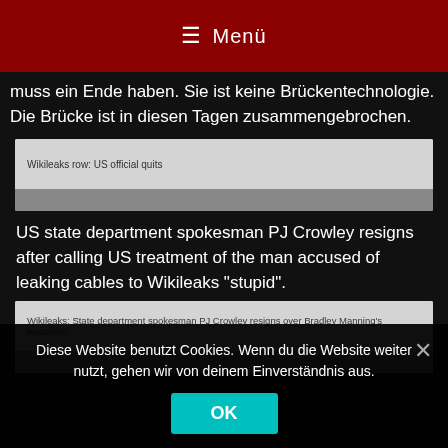☰ Menü
muss ein Ende haben. Sie ist keine Brückentechnologie. Die Brücke ist in diesen Tagen zusammengebrochen.
[Figure (screenshot): News card with title: Wikileaks row: US official quits]
US state department spokesman PJ Crowley resigns after calling US treatment of the man accused of leaking cables to Wikileaks "stupid".
[Figure (screenshot): News card with title: Wikileaks: State department spokesman PJ Crowley resigns over Bradley Manning's treatment]
Diese Website benutzt Cookies. Wenn du die Website weiter nutzt, gehen wir von deinem Einverständnis aus.